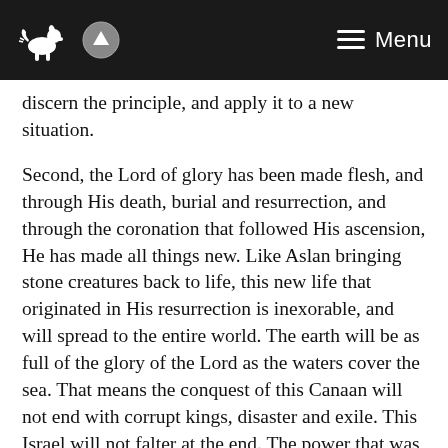Menu
discern the principle, and apply it to a new situation.
Second, the Lord of glory has been made flesh, and through His death, burial and resurrection, and through the coronation that followed His ascension, He has made all things new. Like Aslan bringing stone creatures back to life, this new life that originated in His resurrection is inexorable, and will spread to the entire world. The earth will be as full of the glory of the Lord as the waters cover the sea. That means the conquest of this Canaan will not end with corrupt kings, disaster and exile. This Israel will not falter at the end. The power that was dropped into the world as a result of God’s gospel intervention was such a great power that it justified the shift in tactics that we see, and which I described earlier. But it does not alter the